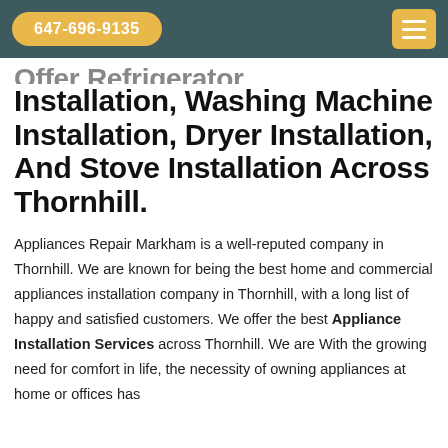647-696-9135
Offer Refrigerator Installation, Washing Machine Installation, Dryer Installation, And Stove Installation Across Thornhill.
Appliances Repair Markham is a well-reputed company in Thornhill. We are known for being the best home and commercial appliances installation company in Thornhill, with a long list of happy and satisfied customers. We offer the best Appliance Installation Services across Thornhill. We are With the growing need for comfort in life, the necessity of owning appliances at home or offices has